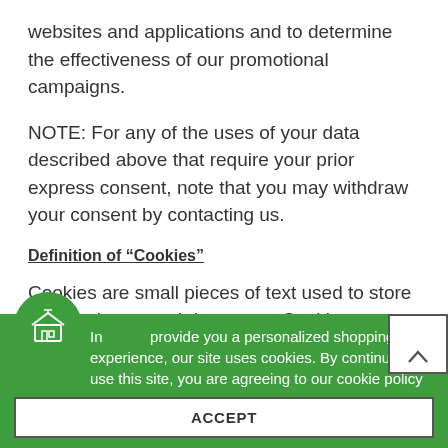websites and applications and to determine the effectiveness of our promotional campaigns.
NOTE: For any of the uses of your data described above that require your prior express consent, note that you may withdraw your consent by contacting us.
Definition of “Cookies”
Cookies are small pieces of text used to store information on web browsers. Cookies are widely used to store and receive identifiers and other information on computers, phones, and other devices.
In order to provide you a personalized shopping experience, our site uses cookies. By continuing to use this site, you are agreeing to our cookie policy.
ACCEPT